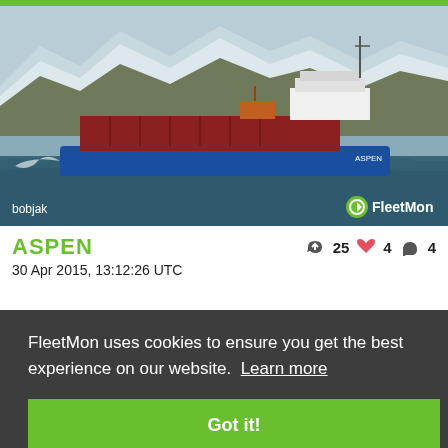[Figure (photo): A blue and red cargo/bulk carrier ship named ASPEN sailing in rough seas with snow-capped mountains in the background. Photographer credit 'bobjak' shown bottom left, FleetMon logo bottom right.]
ASPEN
👍 25 ❤ 4 💬 4
30 Apr 2015, 13:12:26 UTC
FleetMon uses cookies to ensure you get the best experience on our website. Learn more
Got it!
[Figure (photo): Partial view of another ship photo at the bottom of the page, partially obscured by cookie overlay.]